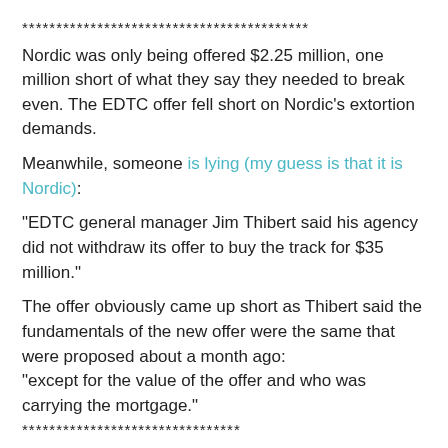******************************************
Nordic was only being offered $2.25 million, one million short of what they say they needed to break even. The EDTC offer fell short on Nordic's extortion demands.
Meanwhile, someone is lying (my guess is that it is Nordic):
"EDTC general manager Jim Thibert said his agency did not withdraw its offer to buy the track for $35 million."
The offer obviously came up short as Thibert said the fundamentals of the new offer were the same that were proposed about a month ago: "except for the value of the offer and who was carrying the mortgage."
********************************
Basically, Nordic does not want to go into their pockets for one dime, and will not sell Fort Erie for anything close to what it is worth.